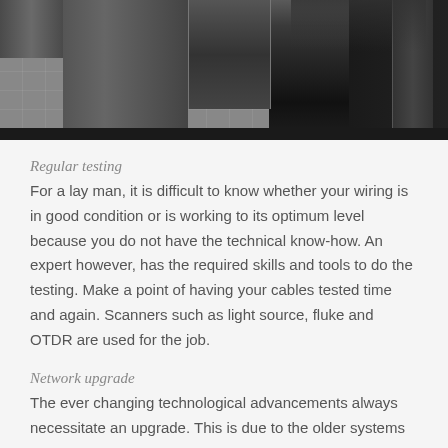[Figure (photo): Server room or data center with server racks and raised floor tiles, dark industrial environment]
Regular testing
For a lay man, it is difficult to know whether your wiring is in good condition or is working to its optimum level because you do not have the technical know-how. An expert however, has the required skills and tools to do the testing. Make a point of having your cables tested time and again. Scanners such as light source, fluke and OTDR are used for the job.
Network upgrade
The ever changing technological advancements always necessitate an upgrade. This is due to the older systems